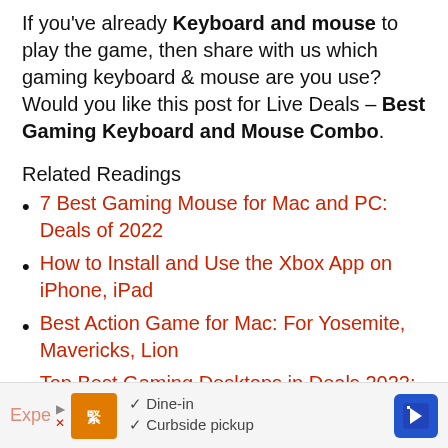If you've already Keyboard and mouse to play the game, then share with us which gaming keyboard & mouse are you use? Would you like this post for Live Deals – Best Gaming Keyboard and Mouse Combo.
Related Readings
7 Best Gaming Mouse for Mac and PC: Deals of 2022
How to Install and Use the Xbox App on iPhone, iPad
Best Action Game for Mac: For Yosemite, Mavericks, Lion
Top Best Gaming Desktops in Deals 2022:
[Figure (infographic): Advertisement banner showing a restaurant ad with orange logo, play/close icons, checkmarks for Dine-in and Curbside pickup, and a blue navigation arrow]